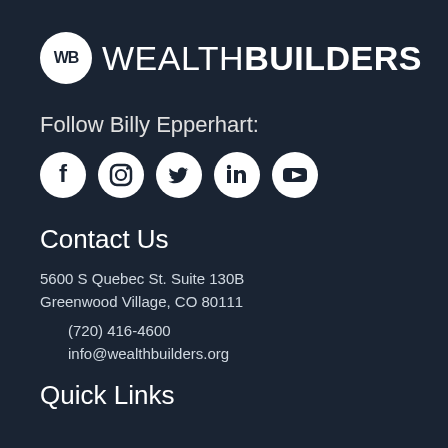[Figure (logo): WealthBuilders logo with WB in a white circle followed by WEALTHBUILDERS text in white on dark background]
Follow Billy Epperhart:
[Figure (infographic): Five white circle social media icons: Facebook, Instagram, Twitter, LinkedIn, YouTube]
Contact Us
5600 S Quebec St. Suite 130B
Greenwood Village, CO 80111
(720) 416-4600
info@wealthbuilders.org
Quick Links